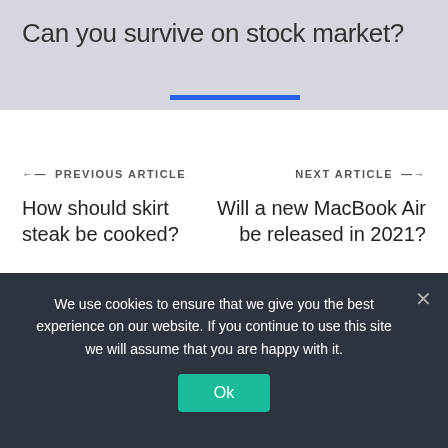Can you survive on stock market?
← PREVIOUS ARTICLE
How should skirt steak be cooked?
NEXT ARTICLE →
Will a new MacBook Air be released in 2021?
RECENT POSTS
We use cookies to ensure that we give you the best experience on our website. If you continue to use this site we will assume that you are happy with it.